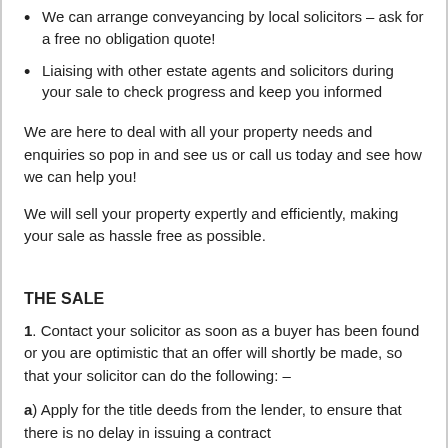We can arrange conveyancing by local solicitors – ask for a free no obligation quote!
Liaising with other estate agents and solicitors during your sale to check progress and keep you informed
We are here to deal with all your property needs and enquiries so pop in and see us or call us today and see how we can help you!
We will sell your property expertly and efficiently, making your sale as hassle free as possible.
THE SALE
1. Contact your solicitor as soon as a buyer has been found or you are optimistic that an offer will shortly be made, so that your solicitor can do the following: –
a) Apply for the title deeds from the lender, to ensure that there is no delay in issuing a contract